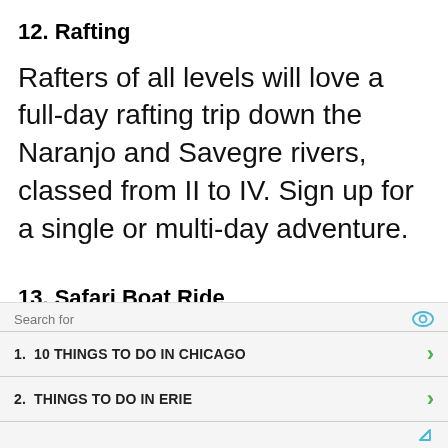12. Rafting
Rafters of all levels will love a full-day rafting trip down the Naranjo and Savegre rivers, classed from II to IV. Sign up for a single or multi-day adventure.
13. Safari Boat Ride
Wanna have a close encounter with an American crocodile measuring up
Search for
1.  10 THINGS TO DO IN CHICAGO
2.  THINGS TO DO IN ERIE